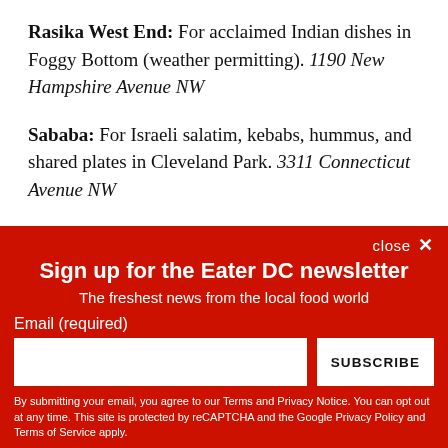Rasika West End: For acclaimed Indian dishes in Foggy Bottom (weather permitting). 1190 New Hampshire Avenue NW
Sababa: For Israeli salatim, kebabs, hummus, and shared plates in Cleveland Park. 3311 Connecticut Avenue NW
Equinox: For destination Mid-Atlantic eats from chef Todd
close ✕
Sign up for the Eater DC newsletter
The freshest news from the local food world
Email (required)
[input field] SUBSCRIBE
By submitting your email, you agree to our Terms and Privacy Notice. You can opt out at any time. This site is protected by reCAPTCHA and the Google Privacy Policy and Terms of Service apply.